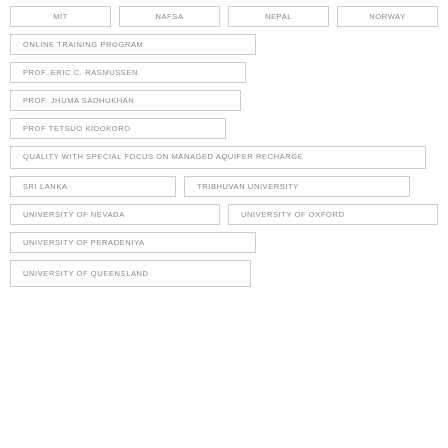MIT
NAFSA
NEPAL
NORWAY
ONLINE TRAINING PROGRAM
PROF. ERIC C. RASMUSSEN
PROF. JHUMA SADHUKHAN
PROF TETSUO KIDOKORO
QUALITY WITH SPECIAL FOCUS ON MANAGED AQUIFER RECHARGE
SRI LANKA
TRIBHUVAN UNIVERSITY
UNIVERSITY OF NEVADA
UNIVERSITY OF OXFORD
UNIVERSITY OF PERADENIYA
UNIVERSITY OF QUEENSLAND